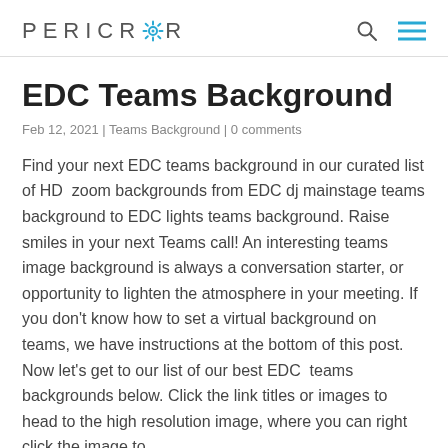PERICROR
EDC Teams Background
Feb 12, 2021 | Teams Background | 0 comments
Find your next EDC teams background in our curated list of HD  zoom backgrounds from EDC dj mainstage teams background to EDC lights teams background. Raise smiles in your next Teams call! An interesting teams image background is always a conversation starter, or opportunity to lighten the atmosphere in your meeting. If you don't know how to set a virtual background on teams, we have instructions at the bottom of this post. Now let's get to our list of our best EDC  teams backgrounds below. Click the link titles or images to head to the high resolution image, where you can right click the image to